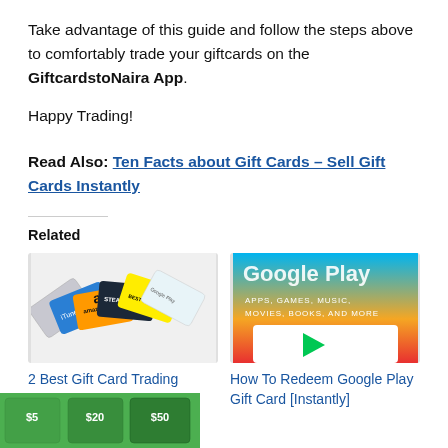Take advantage of this guide and follow the steps above to comfortably trade your giftcards on the GiftcardstoNaira App.
Happy Trading!
Read Also: Ten Facts about Gift Cards – Sell Gift Cards Instantly
Related
[Figure (photo): Fan of gift cards including iTunes, Amazon, Steam, Best Buy, and Google Play cards]
2 Best Gift Card Trading Platform In Nigeria [2022]
[Figure (photo): Google Play gift card showing apps, games, music, movies, books, and more]
How To Redeem Google Play Gift Card [Instantly]
[Figure (photo): Green gift cards showing $5, $20, $50 denominations at bottom of page]